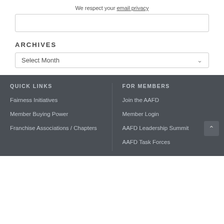We respect your email privacy
ARCHIVES
Select Month
QUICK LINKS
FOR MEMBERS
Fairness Initiatives
Member Buying Power
Franchise Associations / Chapters
Join the AAFD
Member Login
AAFD Leadership Summit
AAFD Task Forces